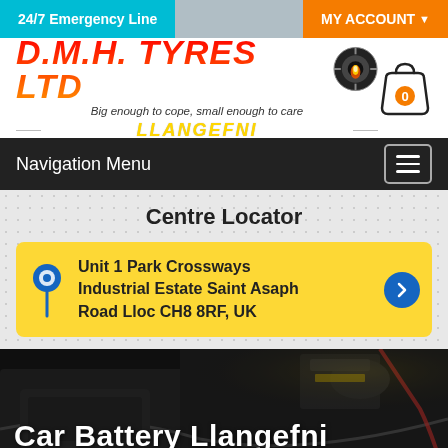24/7 Emergency Line | MY ACCOUNT
[Figure (logo): D.M.H. TYRES LTD logo with tyre graphic, tagline 'Big enough to cope, small enough to care' and location 'LLANGEFNI']
Navigation Menu
Centre Locator
Unit 1 Park Crossways Industrial Estate Saint Asaph Road Lloc CH8 8RF, UK
Car Battery Llangefni